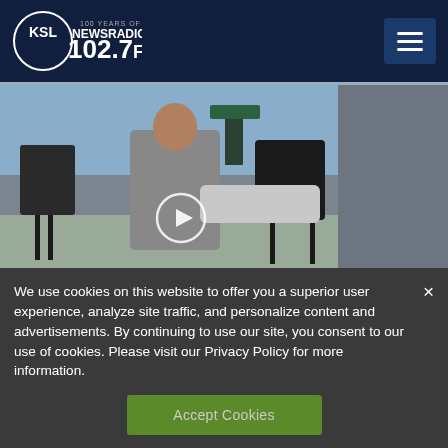KSL NewsRadio 102.7FM — 100 Years of Trust
[Figure (screenshot): Video thumbnail of a cameraman and another person on a street with cameras and tripods, outdoors on a sunny day, with a play button overlay]
We use cookies on this website to offer you a superior user experience, analyze site traffic, and personalize content and advertisements. By continuing to use our site, you consent to our use of cookies. Please visit our Privacy Policy for more information.
Accept Cookies